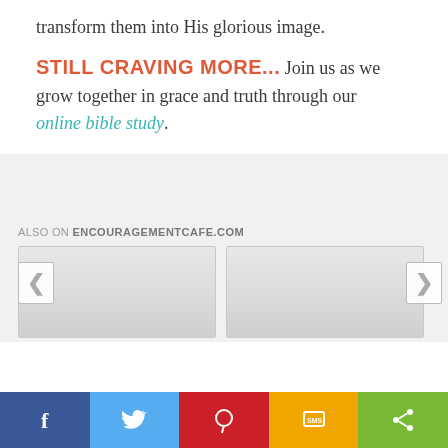transform them into His glorious image.
STILL CRAVING MORE... Join us as we grow together in grace and truth through our online bible study.
ALSO ON ENCOURAGEMENTCAFE.COM
[Figure (screenshot): Two gray placeholder card thumbnails with left and right navigation arrows]
Facebook | Twitter | Pinterest | SMS | Share